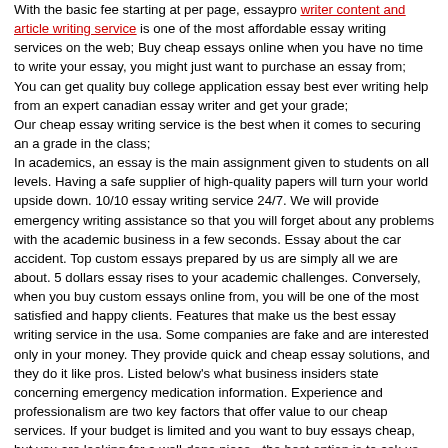With the basic fee starting at per page, essaypro writer content and article writing service is one of the most affordable essay writing services on the web; Buy cheap essays online when you have no time to write your essay, you might just want to purchase an essay from; You can get quality buy college application essay best ever writing help from an expert canadian essay writer and get your grade; Our cheap essay writing service is the best when it comes to securing an a grade in the class; In academics, an essay is the main assignment given to students on all levels. Having a safe supplier of high-quality papers will turn your world upside down. 10/10 essay writing service 24/7. We will provide emergency writing assistance so that you will forget about any problems with the academic business in a few seconds. Essay about the car accident. Top custom essays prepared by us are simply all we are about. 5 dollars essay rises to your academic challenges. Conversely, when you buy custom essays online from, you will be one of the most satisfied and happy clients. Features that make us the best essay writing service in the usa. Some companies are fake and are interested only in your money. They provide quick and cheap essay solutions, and they do it like pros. Listed below's what business insiders state concerning emergency medication information. Experience and professionalism are two key factors that offer value to our cheap services. If your budget is limited and you want to buy essays cheap, but you are looking for a well-done piece - the best option is to ask us for some help. We guarantee that college application essay help online ivy league we will never share your private information with third parties. All sorts of essay writing services. Everybody knows that coursework is the way to pull own grades up. Therefore, our cheap essay writers that we hire for our company are also dedicated and professional enough to handle such academic works. How can i buy an original essay online cheap.
Write my mba essays
It must be plagiarism free, and there shall be no grammar and toefl essay help spelling errors. Cheap professional essay writers - diversify the way you fulfill